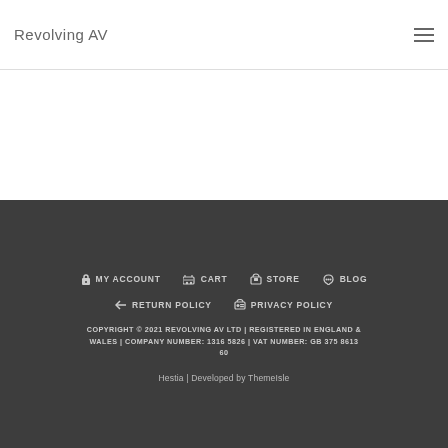Revolving AV
MY ACCOUNT  CART  STORE  BLOG  RETURN POLICY  PRIVACY POLICY
COPYRIGHT © 2021 REVOLVING AV LTD | REGISTERED IN ENGLAND & WALES | COMPANY NUMBER: 1316 5826 | VAT NUMBER: GB 375 8613 60
Hestia | Developed by ThemeIsle